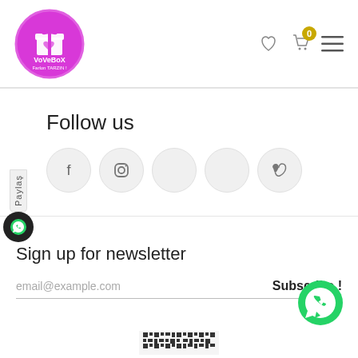[Figure (logo): VoVeBoX logo — circular magenta/purple badge with white icon and text 'VoVeBoX Farlon TARZIN!']
[Figure (infographic): Navigation icons: heart/wishlist, shopping cart with badge '0', hamburger menu]
Follow us
[Figure (infographic): Social media circle icons: Facebook, Instagram, Pinterest, Twitter/X, Vimeo]
Sign up for newsletter
email@example.com
Subscribe !
[Figure (logo): WhatsApp green circle button with phone/chat icon]
[Figure (other): QR code partially visible at bottom center]